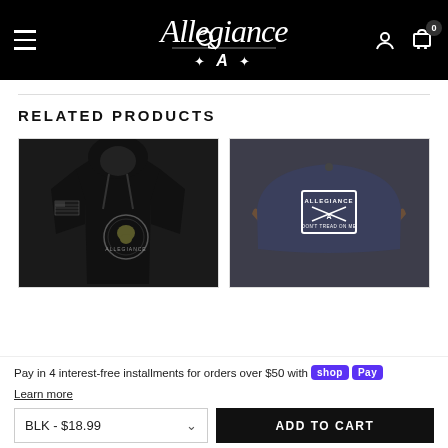Allegiance — navigation header with hamburger menu, search, account, and cart icons
RELATED PRODUCTS
[Figure (photo): Black hoodie with Allegiance skull logo on chest and American flag patch on sleeve]
[Figure (photo): Navy blue Allegiance snapback cap with crossed rifles patch on front]
Pay in 4 interest-free installments for orders over $50 with shop Pay
Learn more
BLK - $18.99
ADD TO CART